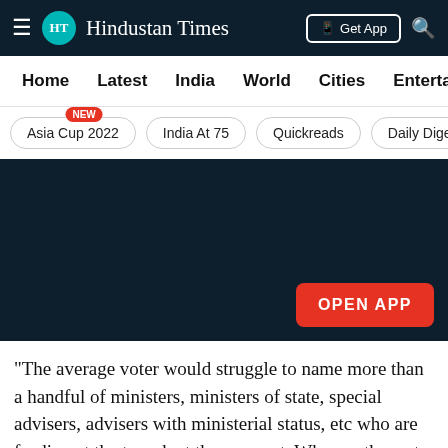Hindustan Times
Home | Latest | India | World | Cities | Entertainment
Asia Cup 2022 NEW | India At 75 | Quickreads | Daily Dige
[Figure (screenshot): Dark banner / app promotion area with OPEN APP button]
"The average voter would struggle to name more than a handful of ministers, ministers of state, special advisers, advisers with ministerial status, etc who are feeding at the trough at the moment. Who are the rest of these privileged souls and what are they doing? Whatever it is, steering state